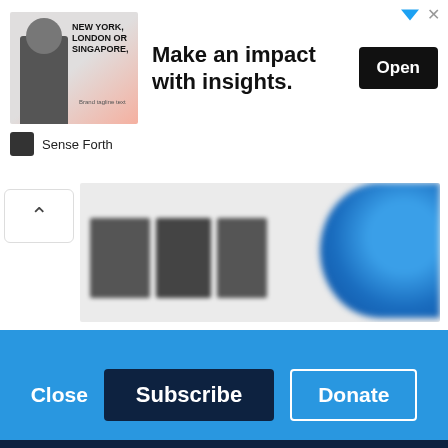[Figure (screenshot): Advertisement banner: image of a person in business attire next to text 'NEW YORK, LONDON OR SINGAPORE.' with headline 'Make an impact with insights.' and an Open button. Branded as Sense Forth.]
[Figure (screenshot): Blurred/redacted website logo area showing large dark letters and blue circular element, with a back-caret button on the left.]
Support IA
Subscribe to IA and investigate Australia today.
Close  Subscribe  Donate
[Figure (screenshot): Social media footer bar with Twitter, Facebook, LinkedIn, Flipboard, share/link, and plus icons in white on dark navy background.]